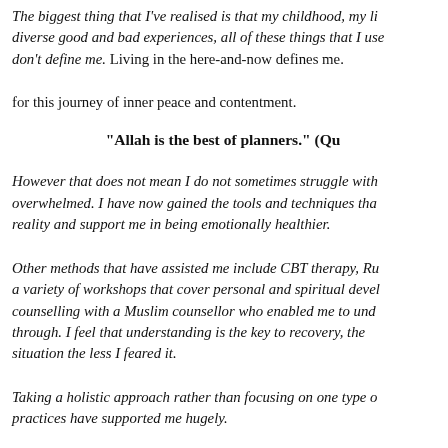The biggest thing that I've realised is that my childhood, my life, diverse good and bad experiences, all of these things that I used to don't define me. Living in the here-and-now defines me. And I'm grateful for this journey of inner peace and contentment.
"Allah is the best of planners." (Qu...
However that does not mean I do not sometimes struggle with feeling overwhelmed. I have now gained the tools and techniques that help me reality and support me in being emotionally healthier.
Other methods that have assisted me include CBT therapy, Ru... a variety of workshops that cover personal and spiritual devel... counselling with a Muslim counsellor who enabled me to und... through. I feel that understanding is the key to recovery, the m... situation the less I feared it.
Taking a holistic approach rather than focusing on one type o... practices have supported me hugely.